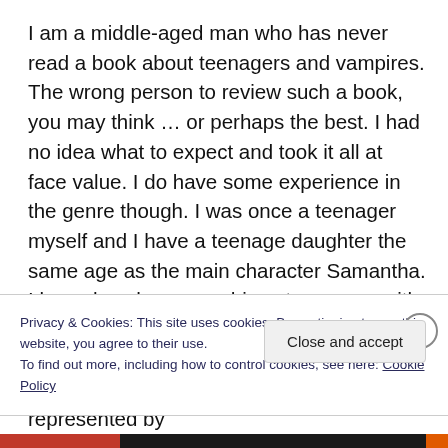I am a middle-aged man who has never read a book about teenagers and vampires. The wrong person to review such a book, you may think … or perhaps the best. I had no idea what to expect and took it all at face value. I do have some experience in the genre though. I was once a teenager myself and I have a teenage daughter the same age as the main character Samantha. I know how hormone-driven teenagers with big ideas and an inwardly-focussed approach to life, crave adventure and acceptance in any world other than that represented by
Privacy & Cookies: This site uses cookies. By continuing to use this website, you agree to their use.
To find out more, including how to control cookies, see here: Cookie Policy
Close and accept